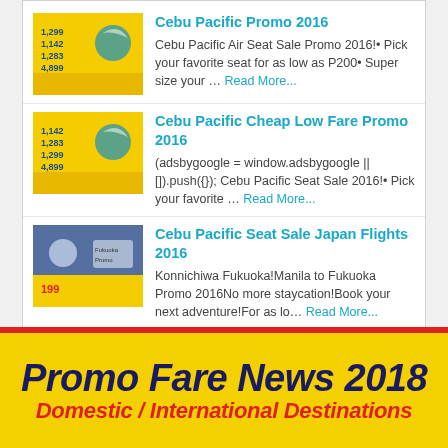Cebu Pacific Promo 2016 — Cebu Pacific Air Seat Sale Promo 2016! Pick your favorite seat for as low as P200 Super size your … Read More...
Cebu Pacific Cheap Low Fare Promo 2016 — (adsbygoogle = window.adsbygoogle || []).push({}); Cebu Pacific Seat Sale 2016! Pick your favorite … Read More...
Cebu Pacific Seat Sale Japan Flights 2016 — Konnichiwa Fukuoka!Manila to Fukuoka Promo 2016No more staycation!Book your next adventure!For as lo… Read More...
Seat Sale Cebu Pacific Promo Fare 2016 — Cebu Pacific Seat Sale April to July Travel Period! • Pick your favorite seat for as low as P200• Su… Read More...
[Figure (infographic): Bottom banner with yellow background and red top border reading 'Promo Fare News 2018' and 'Domestic / International Destinations']